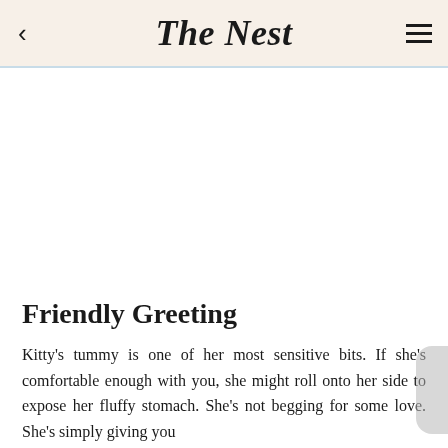The Nest
[Figure (photo): Large image area, appears blank/white in this view]
Friendly Greeting
Kitty's tummy is one of her most sensitive bits. If she's comfortable enough with you, she might roll onto her side to expose her fluffy stomach. She's not begging for some love. She's simply giving you